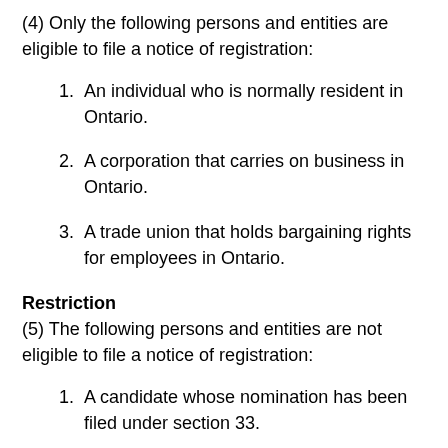(4) Only the following persons and entities are eligible to file a notice of registration:
1. An individual who is normally resident in Ontario.
2. A corporation that carries on business in Ontario.
3. A trade union that holds bargaining rights for employees in Ontario.
Restriction
(5) The following persons and entities are not eligible to file a notice of registration:
1. A candidate whose nomination has been filed under section 33.